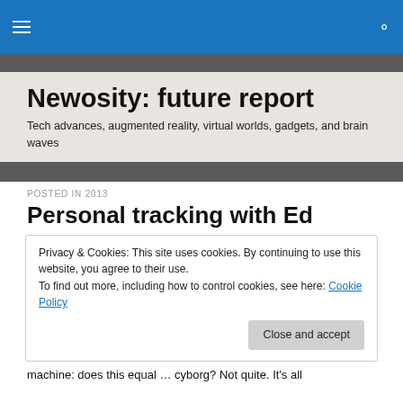Newosity: future report — navigation bar
Newosity: future report
Tech advances, augmented reality, virtual worlds, gadgets, and brain waves
POSTED IN 2013
Personal tracking with Ed
Privacy & Cookies: This site uses cookies. By continuing to use this website, you agree to their use.
To find out more, including how to control cookies, see here: Cookie Policy
Close and accept
machine: does this equal … cyborg? Not quite. It's all